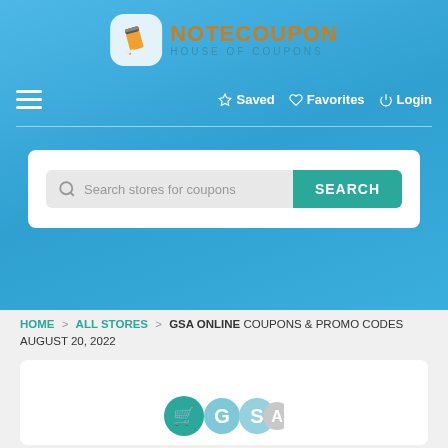[Figure (logo): NoteCoupon House of Coupons logo with pencil icon]
☰  ☆ Saved  ♡ Favorites  ⏻ Login
[Figure (screenshot): Search bar with placeholder 'Search stores for coupons' and SEARCH button]
HOME > ALL STORES > GSA ONLINE COUPONS & PROMO CODES AUGUST 20, 2022
[Figure (logo): GSA Online store logo showing GSA letters]